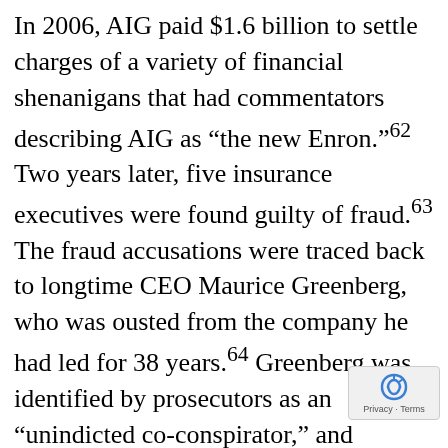In 2006, AIG paid $1.6 billion to settle charges of a variety of financial shenanigans that had commentators describing AIG as “the new Enron.”62 Two years later, five insurance executives were found guilty of fraud.63 The fraud accusations were traced back to longtime CEO Maurice Greenberg, who was ousted from the company he had led for 38 years.64 Greenberg was identified by prosecutors as an “unindicted co-conspirator,” and notified that the Securities and Exchange Commission, which had already fined the company $126 million, was likely to pursue civil charges against him for two separate incidences of fraud.65 AIG was also fined millions of dollars by state insurance regulators, faces charges that they bilked pension funds of billions of dollars.66 But that was not the end of the